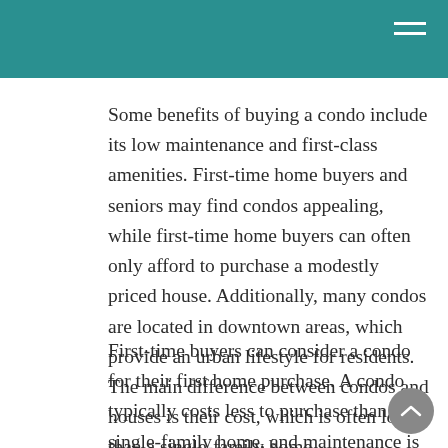Some benefits of buying a condo include its low maintenance and first-class amenities. First-time home buyers and seniors may find condos appealing, while first-time home buyers can often only afford to purchase a modestly priced house. Additionally, many condos are located in downtown areas, which provide an urban lifestyle for residents. The main difference between condos and houses is their cost, which is often lower than a single-family home.
First-time buyers can consider a condo for their first home purchase. A condo typically costs less to purchase than a single-family home, and maintenance is generally handled by the building's homeowners association (HOA). This HOA is responsible for mowing lawns, trimming shrubs,